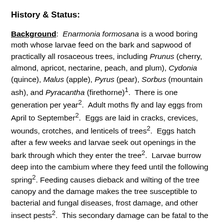History & Status:
Background: Enarmonia formosana is a wood boring moth whose larvae feed on the bark and sapwood of practically all rosaceous trees, including Prunus (cherry, almond, apricot, nectarine, peach, and plum), Cydonia (quince), Malus (apple), Pyrus (pear), Sorbus (mountain ash), and Pyracantha (firethorne)1. There is one generation per year2. Adult moths fly and lay eggs from April to September2. Eggs are laid in cracks, crevices, wounds, crotches, and lenticels of trees2. Eggs hatch after a few weeks and larvae seek out openings in the bark through which they enter the tree2. Larvae burrow deep into the cambium where they feed until the following spring2. Feeding causes dieback and wilting of the tree canopy and the damage makes the tree susceptible to bacterial and fungal diseases, frost damage, and other insect pests2. This secondary damage can be fatal to the tree. Because the moths usually attack mature trees, the most likely pathway for spread of cherry bark tortrix into California is through firewood of the